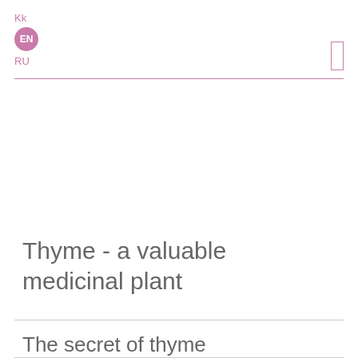Kk EN RU
Thyme - a valuable medicinal plant
The secret of thyme